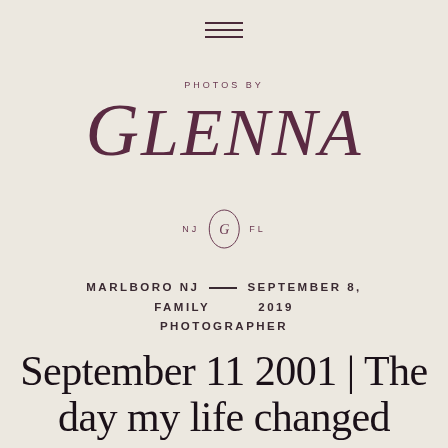[Figure (logo): Hamburger menu icon with three horizontal lines]
[Figure (logo): Photos by Glenna logo with GLENNA in large serif italic font, NJ and FL locations with oval monogram emblem]
MARLBORO NJ — SEPTEMBER 8, FAMILY 2019 PHOTOGRAPHER
September 11 2001 | The day my life changed